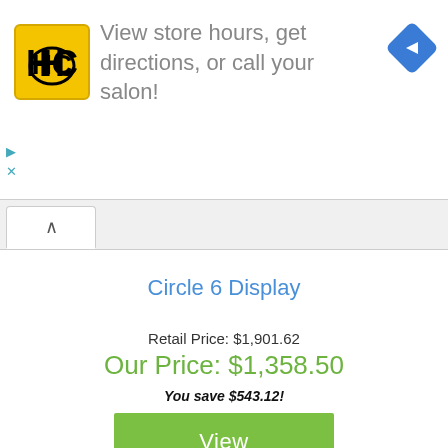[Figure (logo): HC salon logo in yellow square with black border and rounded corners. Blue diamond navigation arrow icon on far right. Advertisement banner with text: View store hours, get directions, or call your salon!]
View store hours, get directions, or call your salon!
Circle 6 Display
Retail Price: $1,901.62
Our Price: $1,358.50
You save $543.12!
View